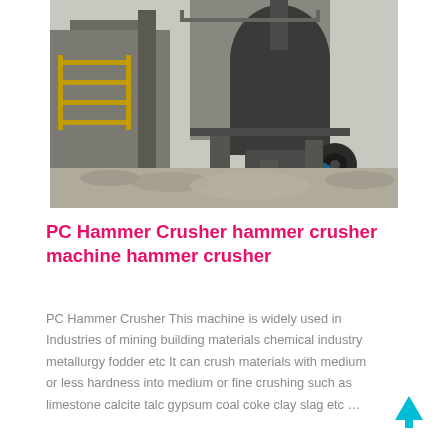[Figure (photo): Industrial hammer crusher machine photographed outdoors at a processing facility. The machine is large, metallic grey and black, mounted on concrete supports with yellow metal staircases and scaffolding visible in the background. Debris and gravel are scattered on the ground around the base.]
PC Hammer Crusher hammer crusher machine hammer crusher
PC Hammer Crusher This machine is widely used in Industries of mining building materials chemical industry metallurgy fodder etc It can crush materials with medium or less hardness into medium or fine crushing such as limestone calcite talc gypsum coal coke clay slag etc …